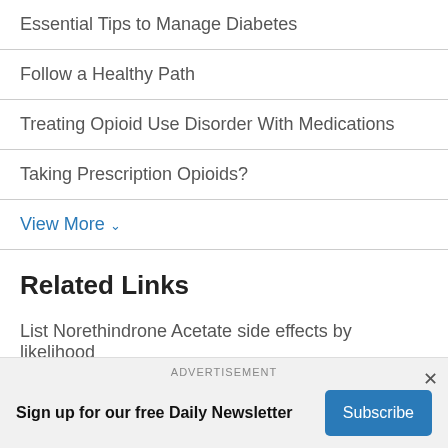Essential Tips to Manage Diabetes
Follow a Healthy Path
Treating Opioid Use Disorder With Medications
Taking Prescription Opioids?
View More ˅
Related Links
List Norethindrone Acetate side effects by likelihood
ADVERTISEMENT
Sign up for our free Daily Newsletter